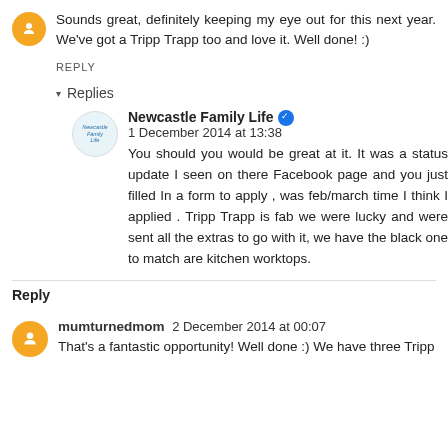Sounds great, definitely keeping my eye out for this next year. We've got a Tripp Trapp too and love it. Well done! :)
REPLY
Replies
Newcastle Family Life  1 December 2014 at 13:38
You should you would be great at it. It was a status update I seen on there Facebook page and you just filled In a form to apply , was feb/march time I think I applied . Tripp Trapp is fab we were lucky and were sent all the extras to go with it, we have the black one to match are kitchen worktops.
Reply
mumturnedmom  2 December 2014 at 00:07
That's a fantastic opportunity! Well done :) We have three Tripp